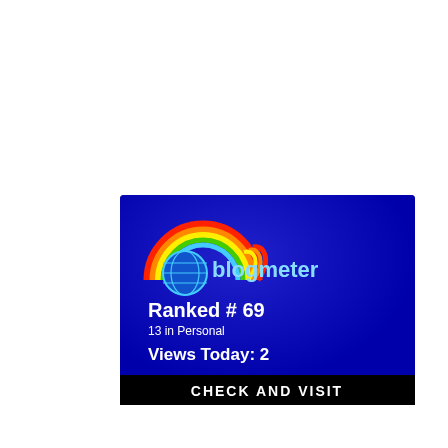[Figure (logo): Blogmeter widget badge with dark blue background. Shows rainbow arc logo with 'blogmeter' text in light blue, 'Ranked # 69' in white, '13 in Personal' in white smaller text, 'Views Today: 2' in white, and a black bar at the bottom with 'CHECK AND VISIT' in white bold uppercase text.]